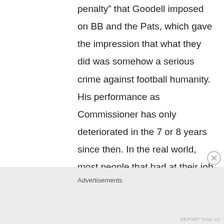penalty” that Goodell imposed on BB and the Pats, which gave the impression that what they did was somehow a serious crime against football humanity. His performance as Commissioner has only deteriorated in the 7 or 8 years since then. In the real world, most people that bad at their job would have lost it a long, long time ago.
Advertisements